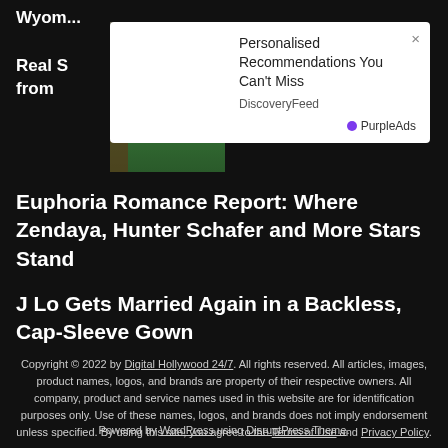Wyom...
[Figure (screenshot): Ad overlay popup with mountain landscape image. Text: 'Personalised Recommendations You Can't Miss', source: 'DiscoveryFeed', brand: 'PurpleAds'. Close button (×) top right.]
Euphoria Romance Report: Where Zendaya, Hunter Schafer and More Stars Stand
J Lo Gets Married Again in a Backless, Cap-Sleeve Gown
Copyright © 2022 by Digital Hollywood 24/7. All rights reserved. All articles, images, product names, logos, and brands are property of their respective owners. All company, product and service names used in this website are for identification purposes only. Use of these names, logos, and brands does not imply endorsement unless specified. By using this site, you agree to the Terms of Use and Privacy Policy.
Powered by WordPress using DisruptPress Theme.